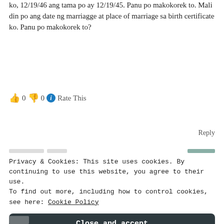ko, 12/19/46 ang tama po ay 12/19/45. Panu po makokorek to. Mali din po ang date ng marriagge at place of marriage sa birth certificate ko. Panu po makokorek to?
👍 0 👎 0 ℹ Rate This
Reply
Privacy & Cookies: This site uses cookies. By continuing to use this website, you agree to their use.
To find out more, including how to control cookies, see here: Cookie Policy
Close and accept